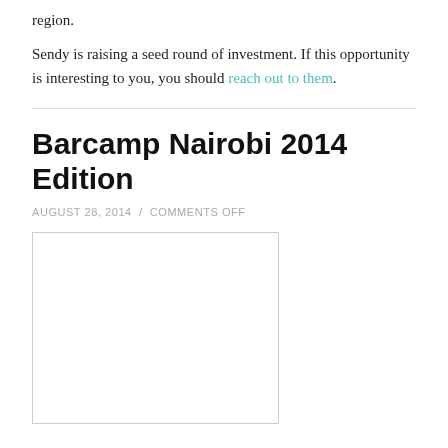region.
Sendy is raising a seed round of investment. If this opportunity is interesting to you, you should reach out to them.
Barcamp Nairobi 2014 Edition
AUGUST 28, 2014 / COMMENTS OFF
[Figure (photo): Image placeholder with light border, no visible content]